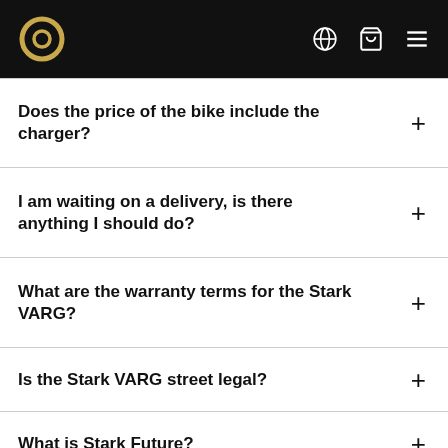Stark Future – navigation header with logo, globe icon, cart icon, and menu icon
Does the price of the bike include the charger?
I am waiting on a delivery, is there anything I should do?
What are the warranty terms for the Stark VARG?
Is the Stark VARG street legal?
What is Stark Future?